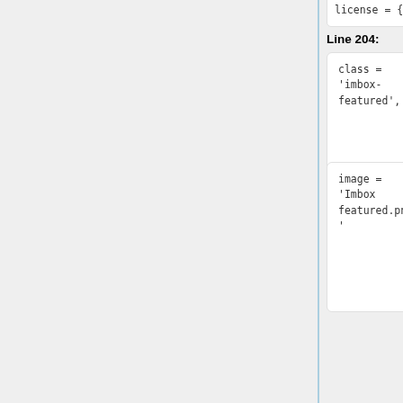license = {
license = {
Line 204:
Line 144:
class =
'imbox-
featured',
class =
'imbox-
featured',
image =
'Imbox
featured.png
'
image =
'Imbox
featured.png
'
},
notice = {
class =
'imbox-